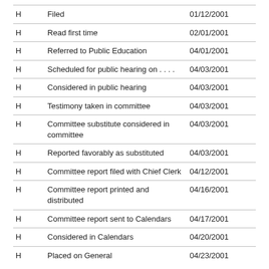|  | Action | Date |
| --- | --- | --- |
| H | Filed | 01/12/2001 |
| H | Read first time | 02/01/2001 |
| H | Referred to Public Education | 04/01/2001 |
| H | Scheduled for public hearing on . . . . | 04/03/2001 |
| H | Considered in public hearing | 04/03/2001 |
| H | Testimony taken in committee | 04/03/2001 |
| H | Committee substitute considered in committee | 04/03/2001 |
| H | Reported favorably as substituted | 04/03/2001 |
| H | Committee report filed with Chief Clerk | 04/12/2001 |
| H | Committee report printed and distributed | 04/16/2001 |
| H | Committee report sent to Calendars | 04/17/2001 |
| H | Considered in Calendars | 04/20/2001 |
| H | Placed on General | 04/23/2001 |